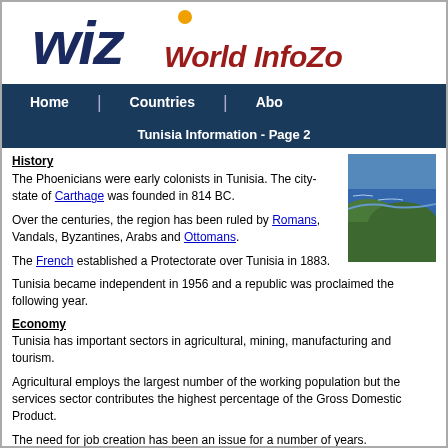[Figure (logo): WIZ World InfoZone logo with large blue italic WIZ letters, orange dot, and red italic 'World InfoZo' text]
Home | Countries | Abo
Tunisia Information - Page 2
History
The Phoenicians were early colonists in Tunisia. The city-state of Carthage was founded in 814 BC.
Over the centuries, the region has been ruled by Romans, Vandals, Byzantines, Arabs and Ottomans.
The French established a Protectorate over Tunisia in 1883.
[Figure (photo): Aerial coastal landscape photo showing sea and green hills]
Tunisia became independent in 1956 and a republic was proclaimed the following year.
Economy
Tunisia has important sectors in agricultural, mining, manufacturing and tourism.
Agricultural employs the largest number of the working population but the services sector contributes the highest percentage of the Gross Domestic Product.
The need for job creation has been an issue for a number of years.
Agricultural products are grain, sugar beets, almonds, citrus fruit, dates, olives and tomato...
Beef and dairy products are produced.